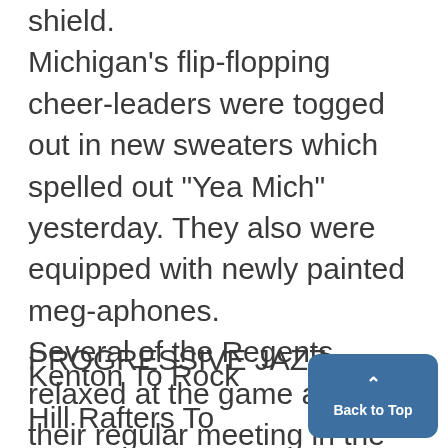shield. Michigan's flip-flopping cheerleaders were togged out in new sweaters which spelled out "Yea Mich" yesterday. They also were equipped with newly painted megaphones. Several of the Regents relaxed at the game after their regular meeting in the morning. U.i
PROGRESSIVE JAZZ:
Kenton To Rock Hill Rafters To